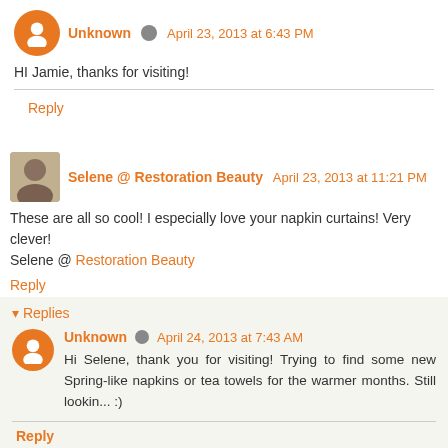Unknown · April 23, 2013 at 6:43 PM
HI Jamie, thanks for visiting!
Reply
Selene @ Restoration Beauty · April 23, 2013 at 11:21 PM
These are all so cool! I especially love your napkin curtains! Very clever!
Selene @ Restoration Beauty
Reply
Replies
Unknown · April 24, 2013 at 7:43 AM
Hi Selene, thank you for visiting! Trying to find some new Spring-like napkins or tea towels for the warmer months. Still lookin... :)
Reply